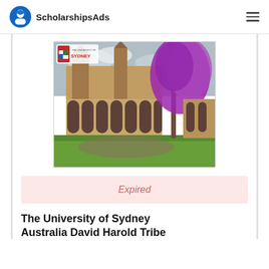ScholarshipsAds
[Figure (photo): University of Sydney campus photo with Gothic sandstone buildings, a jacaranda tree with purple blossoms, and lawn. University of Sydney logo overlay in top left.]
Expired
The University of Sydney Australia David Harold Tribe